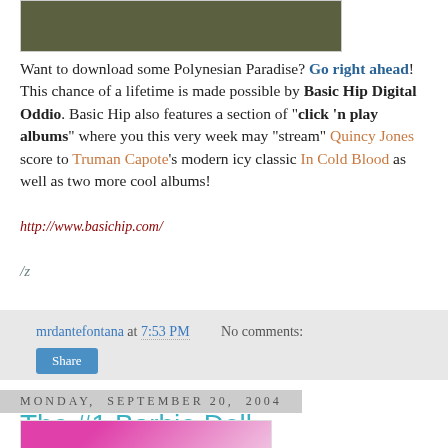[Figure (photo): Partial photo of a dark green/brown landscape image, cropped at top]
Want to download some Polynesian Paradise? Go right ahead! This chance of a lifetime is made possible by Basic Hip Digital Oddio. Basic Hip also features a section of "click 'n play albums" where you this very week may "stream" Quincy Jones score to Truman Capote's modern icy classic In Cold Blood as well as two more cool albums!
http://www.basichip.com/
/z
mrdantefontana at 7:53 PM   No comments:
Share
Monday, September 20, 2004
The #1 Barbie Doll
[Figure (photo): Bottom of page partial image showing a pink/magenta colored photo, cropped]